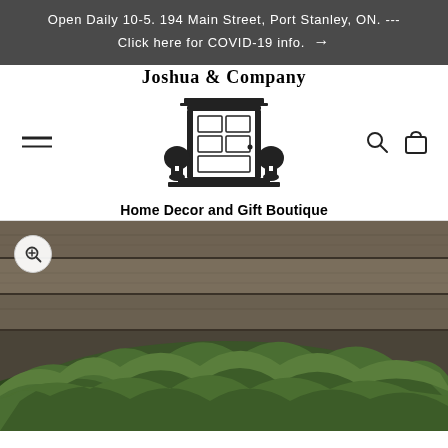Open Daily 10-5. 194 Main Street, Port Stanley, ON. --- Click here for COVID-19 info. →
[Figure (logo): Joshua & Company logo with illustration of a door flanked by topiaries, arched text 'Joshua & Company' above, and 'Home Decor and Gift Boutique' below]
[Figure (photo): Product photo showing fresh green pine/cedar evergreen branches arranged in a rustic wooden crate or box against grey weathered wood plank background]